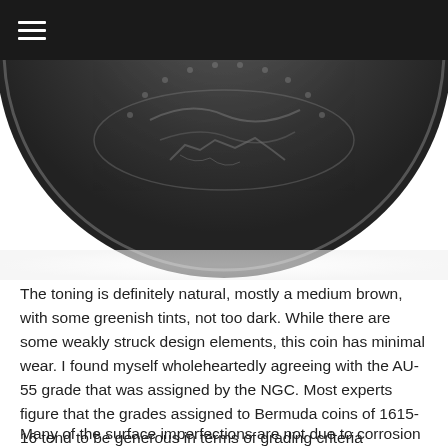≡
[Figure (photo): Close-up photograph of the bottom half of a dark bronze/copper Bermuda coin from 1615-16, showing worn design elements against a white background.]
The toning is definitely natural, mostly a medium brown, with some greenish tints, not too dark. While there are some weakly struck design elements, this coin has minimal wear. I found myself wholeheartedly agreeing with the AU-55 grade that was assigned by the NGC. Most experts figure that the grades assigned to Bermuda coins of 1615-16 tend to be generous in terms of grading criteria employed for most other coins. This AU-55 grade, however, is really not generous. This coin is almost unbelievable.
Many of the surface imperfections are not due to corrosion or